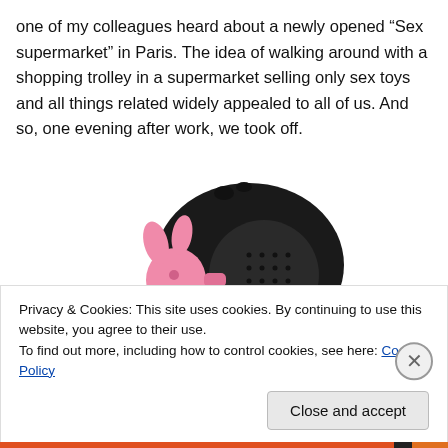one of my colleagues heard about a newly opened “Sex supermarket” in Paris. The idea of walking around with a shopping trolley in a supermarket selling only sex toys and all things related widely appealed to all of us. And so, one evening after work, we took off.
[Figure (photo): A black silicone device with a pink rabbit-shaped attachment on the side.]
Privacy & Cookies: This site uses cookies. By continuing to use this website, you agree to their use.
To find out more, including how to control cookies, see here: Cookie Policy